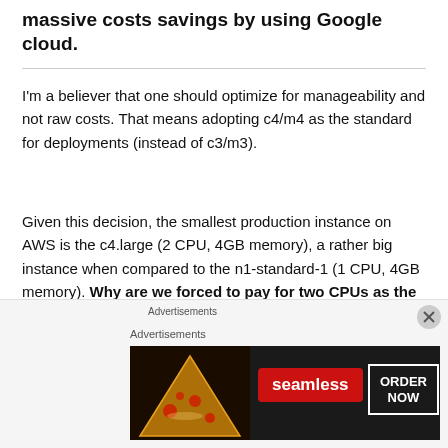massive costs savings by using Google cloud.
I'm a believer that one should optimize for manageability and not raw costs. That means adopting c4/m4 as the standard for deployments (instead of c3/m3).
Given this decision, the smallest production instance on AWS is the c4.large (2 CPU, 4GB memory), a rather big instance when compared to the n1-standard-1 (1 CPU, 4GB memory). Why are we forced to pay for two CPUs as the minimal choice on AWS? That does set a high base price.
[Figure (other): Seamless food delivery advertisement banner with pizza image, Seamless red logo, and ORDER NOW button]